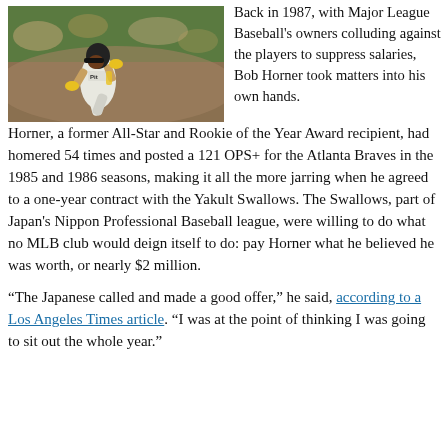[Figure (photo): Baseball player in Pittsburgh Pirates uniform running, wearing black helmet and yellow batting gloves]
Back in 1987, with Major League Baseball's owners colluding against the players to suppress salaries, Bob Horner took matters into his own hands. Horner, a former All-Star and Rookie of the Year Award recipient, had homered 54 times and posted a 121 OPS+ for the Atlanta Braves in the 1985 and 1986 seasons, making it all the more jarring when he agreed to a one-year contract with the Yakult Swallows. The Swallows, part of Japan's Nippon Professional Baseball league, were willing to do what no MLB club would deign itself to do: pay Horner what he believed he was worth, or nearly $2 million.
“The Japanese called and made a good offer,” he said, according to a Los Angeles Times article. “I was at the point of thinking I was going to sit out the whole year.”